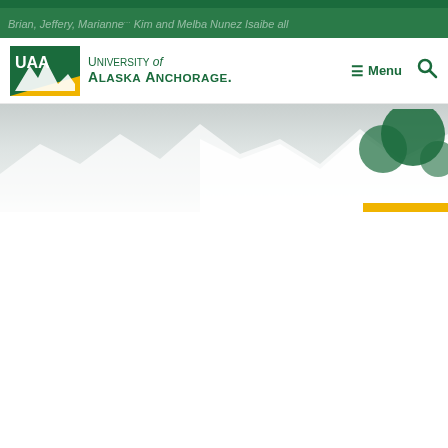[Figure (screenshot): University of Alaska Anchorage website header screenshot showing the UAA logo, navigation menu button, search icon, and a partially visible hero image with mountain silhouette and faded text reading 'Brian, Jeffery, Marianne... Kim and Melba Nunez Isaibe all']
Brian, Jeffery, Marianne... Kim and Melba Nunez Isaibe all
University of Alaska Anchorage
≡ Menu